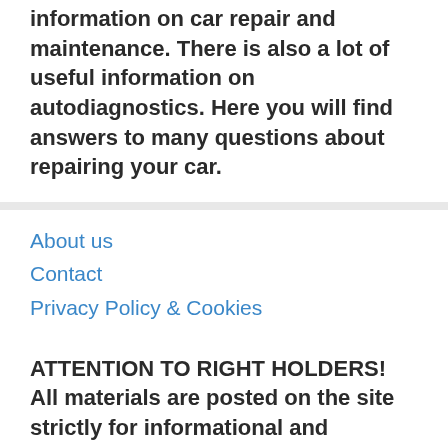information on car repair and maintenance. There is also a lot of useful information on autodiagnostics. Here you will find answers to many questions about repairing your car.
About us
Contact
Privacy Policy & Cookies
ATTENTION TO RIGHT HOLDERS! All materials are posted on the site strictly for informational and educational purposes! If you believe that the posting of any material infringes your copyright, be sure to contact us through the contact form and your